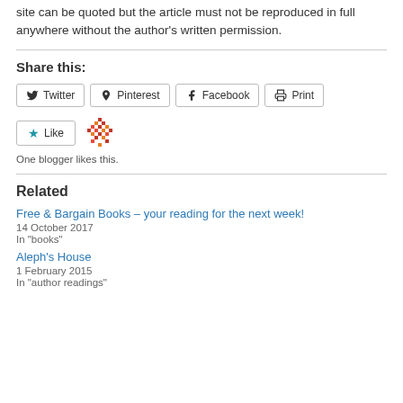site can be quoted but the article must not be reproduced in full anywhere without the author's written permission.
Share this:
[Figure (other): Social share buttons: Twitter, Pinterest, Facebook, Print]
[Figure (other): Like button with star icon and a decorative pixel/snowflake image]
One blogger likes this.
Related
Free & Bargain Books – your reading for the next week!
14 October 2017
In "books"
Aleph's House
1 February 2015
In "author readings"